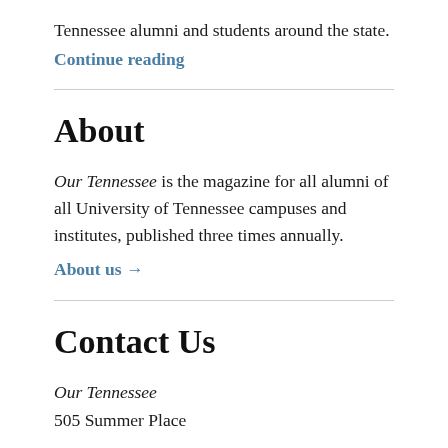Tennessee alumni and students around the state.
Continue reading
About
Our Tennessee is the magazine for all alumni of all University of Tennessee campuses and institutes, published three times annually.
About us →
Contact Us
Our Tennessee
505 Summer Place